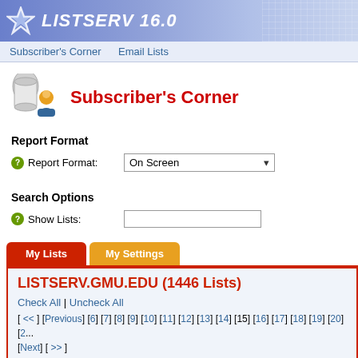LISTSERV 16.0
Subscriber's Corner  Email Lists
Subscriber's Corner
Report Format
Report Format: On Screen
Search Options
Show Lists:
My Lists  My Settings
LISTSERV.GMU.EDU (1446 Lists)
Check All | Uncheck All
[ << ] [Previous] [6] [7] [8] [9] [10] [11] [12] [13] [14] [15] [16] [17] [18] [19] [20] [2... [Next] [ >> ]
List Names    List Descriptions